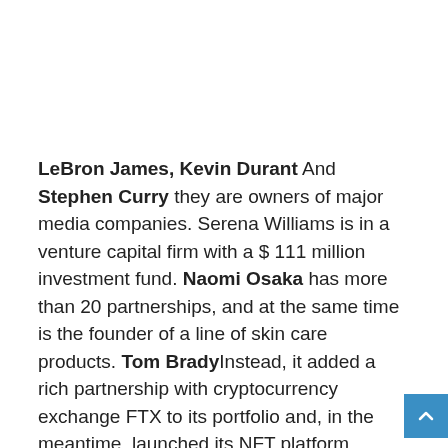LeBron James, Kevin Durant And Stephen Curry they are owners of major media companies. Serena Williams is in a venture capital firm with a $ 111 million investment fund. Naomi Osaka has more than 20 partnerships, and at the same time is the founder of a line of skin care products. Tom BradyInstead, it added a rich partnership with cryptocurrency exchange FTX to its portfolio and, in the meantime, launched its NFT platform, Autograph.
This is to say that sports stars today are much more than athletes. They do marketing with a golden weight for the biggest brands and entrepreneurs in the world, guaranteeing an income that is often higher than what they get from their